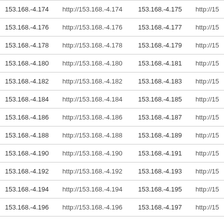| 153.168.-4.174 | http://153.168.-4.174 | 153.168.-4.175 | http://15 |
| 153.168.-4.176 | http://153.168.-4.176 | 153.168.-4.177 | http://15 |
| 153.168.-4.178 | http://153.168.-4.178 | 153.168.-4.179 | http://15 |
| 153.168.-4.180 | http://153.168.-4.180 | 153.168.-4.181 | http://15 |
| 153.168.-4.182 | http://153.168.-4.182 | 153.168.-4.183 | http://15 |
| 153.168.-4.184 | http://153.168.-4.184 | 153.168.-4.185 | http://15 |
| 153.168.-4.186 | http://153.168.-4.186 | 153.168.-4.187 | http://15 |
| 153.168.-4.188 | http://153.168.-4.188 | 153.168.-4.189 | http://15 |
| 153.168.-4.190 | http://153.168.-4.190 | 153.168.-4.191 | http://15 |
| 153.168.-4.192 | http://153.168.-4.192 | 153.168.-4.193 | http://15 |
| 153.168.-4.194 | http://153.168.-4.194 | 153.168.-4.195 | http://15 |
| 153.168.-4.196 | http://153.168.-4.196 | 153.168.-4.197 | http://15 |